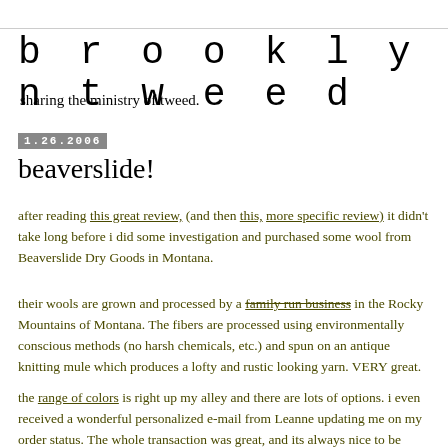brooklyntweed
sharing the ministry of tweed.
1.26.2006
beaverslide!
after reading this great review, (and then this, more specific review) it didn't take long before i did some investigation and purchased some wool from Beaverslide Dry Goods in Montana.
their wools are grown and processed by a family run business in the Rocky Mountains of Montana. The fibers are processed using environmentally conscious methods (no harsh chemicals, etc.) and spun on an antique knitting mule which produces a lofty and rustic looking yarn. VERY great.
the range of colors is right up my alley and there are lots of options. i even received a wonderful personalized e-mail from Leanne updating me on my order status. The whole transaction was great, and its always nice to be supporting independent